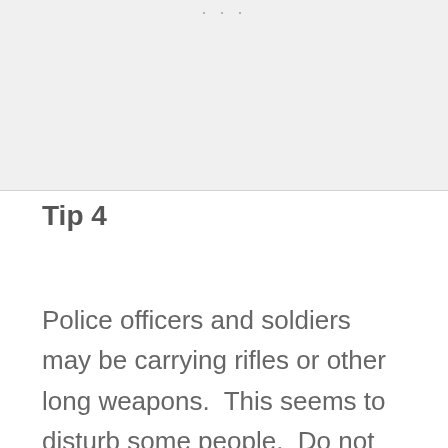[Figure (other): Gray image placeholder area at top of page]
Tip 4
Police officers and soldiers may be carrying rifles or other long weapons.  This seems to disturb some people.  Do not worry.  This is